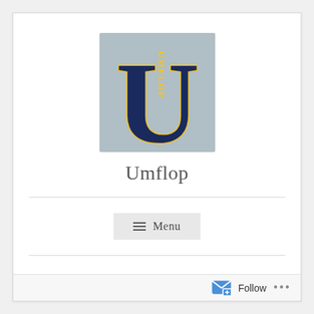[Figure (logo): Umflop logo: a large dark navy letter U with the word UMFLOP written vertically in gold/yellow serif text inside the U, on a light gray/blue square background]
Umflop
≡  Menu
In A Way That Will Change